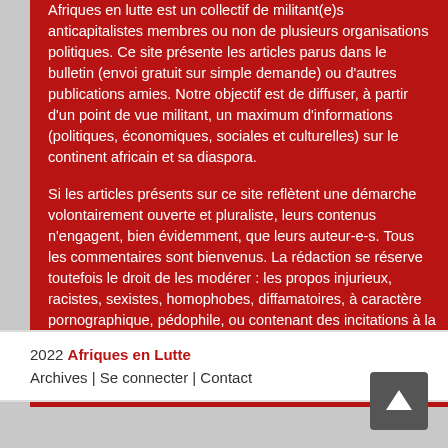Afriques en lutte est un collectif de militant(e)s anticapitalistes membres ou non de plusieurs organisations politiques. Ce site présente les articles parus dans le bulletin (envoi gratuit sur simple demande) ou d'autres publications amies. Notre objectif est de diffuser, à partir d'un point de vue militant, un maximum d'informations (politiques, économiques, sociales et culturelles) sur le continent africain et sa diaspora.
Si les articles présents sur ce site reflètent une démarche volontairement ouverte et pluraliste, leurs contenus n'engagent, bien évidemment, que leurs auteur-e-s. Tous les commentaires sont bienvenus. La rédaction se réserve toutefois le droit de les modérer : les propos injurieux, racistes, sexistes, homophobes, diffamatoires, à caractère pornographique, pédophile, ou contenant des incitations à la haine ne seront pas publiés.
Pour nous contacter : afriquesenlutte@gmail.com
2022 Afriques en Lutte
Archives | Se connecter | Contact